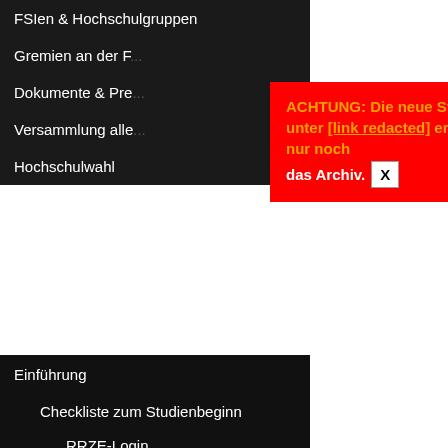FSIen & Hochschulgruppen
Gremien an der F...
Dokumente & Pre...
Versammlung alle...
Hochschulwahl
ACHTUNG: Die neue Stuve-Webseite ist unter [link] erreichbar. Hier ist nur noch das Archiv. X
Einführung
Checkliste zum Studienbeginn
RRZE-Login
MeinCampus
StudOn
UnivIS – Stundenplan erstellen
Bibliothek – OPACPlus
IT-Infrastruktur
Konferenz der studentischen Initiativen
It's ea then a Chec warni gap i affec payda
G
A w q C
A li th le
S